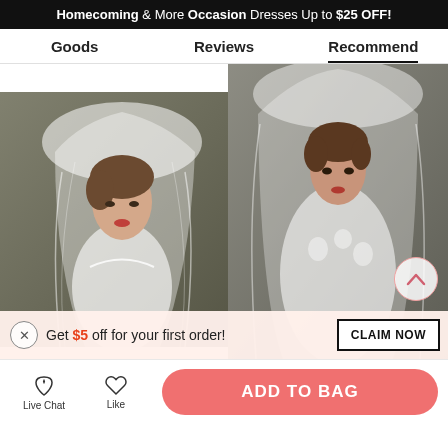Homecoming & More Occasion Dresses Up to $25 OFF!
Goods   Reviews   Recommend
[Figure (photo): Woman modeling a white bridal veil and strapless wedding dress, left product photo]
[Figure (photo): Woman modeling a white bridal veil and lace wedding dress, right product photo]
Get $5 off for your first order!
CLAIM NOW
Live Chat
Like
ADD TO BAG